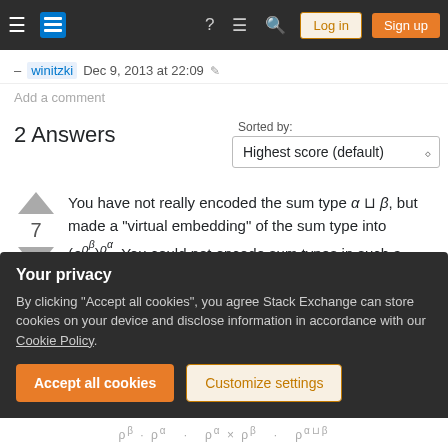Stack Exchange navigation bar with hamburger menu, logo, help icon, chat icon, search icon, Log in and Sign up buttons
– winitzki Dec 9, 2013 at 22:09 ✎
Add a comment
2 Answers
Sorted by:
Highest score (default)
You have not really encoded the sum type α ⊔ β, but made a "virtual embedding" of the sum type into (ρ^(ρ^β))^(ρ^α). You could not encode sum types in such a calculus, simply because sum types are not
Your privacy
By clicking "Accept all cookies", you agree Stack Exchange can store cookies on your device and disclose information in accordance with our Cookie Policy.
Accept all cookies   Customize settings